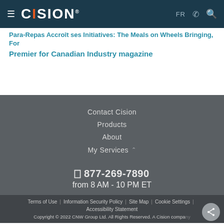CISION — FR | phone | search
Para-Repas Accroît ses Initiatives: The Meals on Wheels Bringing, Premier for Canadian Industry magazine
Contact Cision
Products
About
My Services
877-269-7890
from 8 AM - 10 PM ET
Terms of Use | Information Security Policy | Site Map | Cookie Settings | Accessibility Statement
Copyright © 2022 CNW Group Ltd. All Rights Reserved. A Cision company